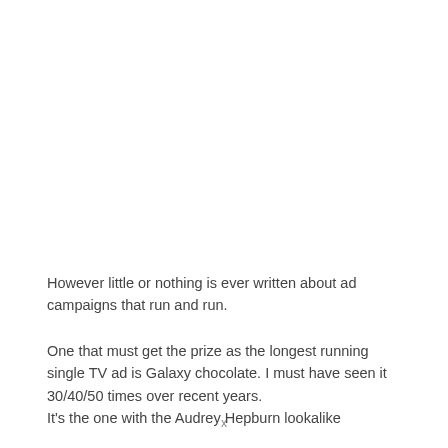However little or nothing is ever written about ad campaigns that run and run.
One that must get the prize as the longest running single TV ad is Galaxy chocolate. I must have seen it 30/40/50 times over recent years. It's the one with the Audrey Hepburn lookalike
x